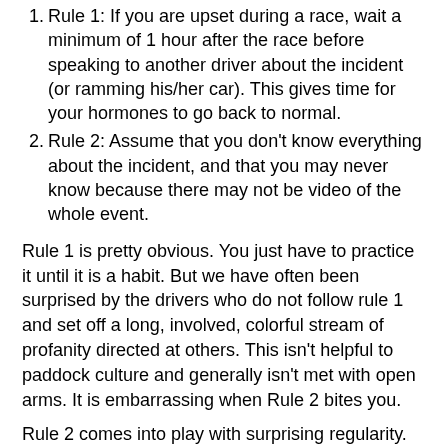Rule 1: If you are upset during a race, wait a minimum of 1 hour after the race before speaking to another driver about the incident (or ramming his/her car). This gives time for your hormones to go back to normal.
Rule 2: Assume that you don't know everything about the incident, and that you may never know because there may not be video of the whole event.
Rule 1 is pretty obvious. You just have to practice it until it is a habit. But we have often been surprised by the drivers who do not follow rule 1 and set off a long, involved, colorful stream of profanity directed at others. This isn't helpful to paddock culture and generally isn't met with open arms. It is embarrassing when Rule 2 bites you.
Rule 2 comes into play with surprising regularity. Racing is a complex activity, and what you see from the cockpit often isn't more than a fraction of what is going on.
As an example, we recently were part of an i